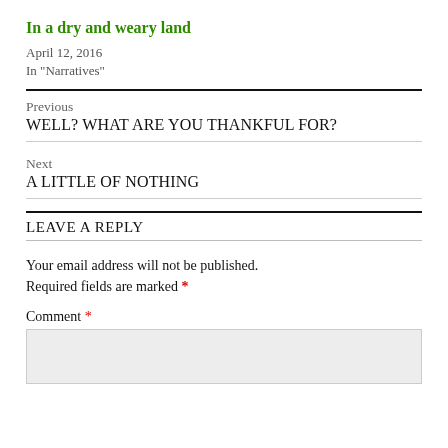In a dry and weary land
April 12, 2016
In "Narratives"
Previous
WELL? WHAT ARE YOU THANKFUL FOR?
Next
A LITTLE OF NOTHING
LEAVE A REPLY
Your email address will not be published. Required fields are marked *
Comment *